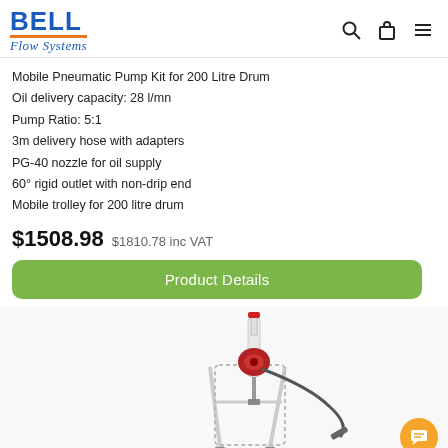Bell Flow Systems
Mobile Pneumatic Pump Kit for 200 Litre Drum
Oil delivery capacity: 28 l/mn
Pump Ratio: 5:1
3m delivery hose with adapters
PG-40 nozzle for oil supply
60° rigid outlet with non-drip end
Mobile trolley for 200 litre drum
$1508.98 $1810.78 inc VAT
Product Details
[Figure (photo): Mobile pneumatic pump on trolley for 200 litre drum, with hose and nozzle attachment]